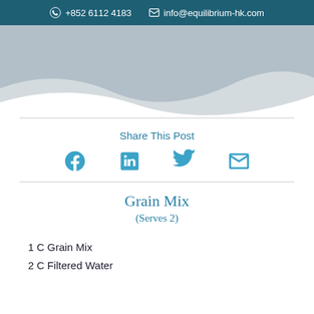+852 6112 4183  info@equilibrium-hk.com
[Figure (illustration): Gray wave/blob decorative graphic on white background]
Share This Post
[Figure (infographic): Social media sharing icons: Facebook, LinkedIn, Twitter, Email — in teal/blue color]
Grain Mix
(Serves 2)
1 C Grain Mix
2 C Filtered Water